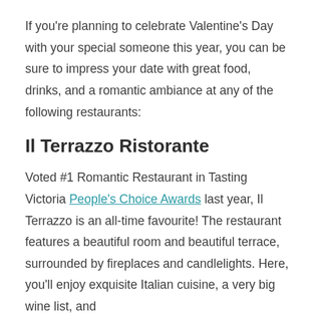If you're planning to celebrate Valentine's Day with your special someone this year, you can be sure to impress your date with great food, drinks, and a romantic ambiance at any of the following restaurants:
Il Terrazzo Ristorante
Voted #1 Romantic Restaurant in Tasting Victoria People's Choice Awards last year, Il Terrazzo is an all-time favourite! The restaurant features a beautiful room and beautiful terrace, surrounded by fireplaces and candlelights. Here, you'll enjoy exquisite Italian cuisine, a very big wine list, and